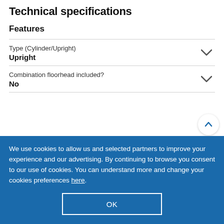Technical specifications
Features
| Attribute | Value |
| --- | --- |
| Type (Cylinder/Upright) | Upright |
| Combination floorhead included? | No |
We use cookies to allow us and selected partners to improve your experience and our advertising. By continuing to browse you consent to our use of cookies. You can understand more and change your cookies preferences here.